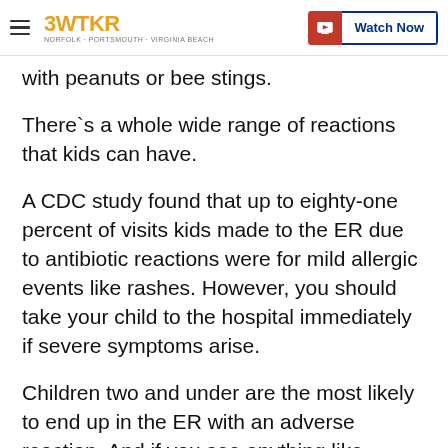3WTKR — Watch Now
with peanuts or bee stings.
There`s a whole wide range of reactions that kids can have.
A CDC study found that up to eighty-one percent of visits kids made to the ER due to antibiotic reactions were for mild allergic events like rashes. However, you should take your child to the hospital immediately if severe symptoms arise.
Children two and under are the most likely to end up in the ER with an adverse reaction. And if you see anything like trouble breathing or a weak pulse, seizure, a loss of consciousness or even severe hives, you want to take them to the ER right